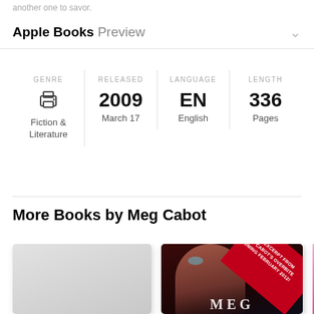another one to savor.
Apple Books Preview
| GENRE | RELEASED | LANGUAGE | LENGTH |
| --- | --- | --- | --- |
| Fiction & Literature | 2009 March 17 | EN English | 336 Pages |
More Books by Meg Cabot
[Figure (illustration): Row of book covers by Meg Cabot: a plain grey cover, a dark cover with a close-up of a woman's face and red diagonal banner reading 'WITH EXCERPT FROM MEG CABOT'S OVERBITE COMING FEBRUARY 2012!', and a partial pink cover on the right edge.]